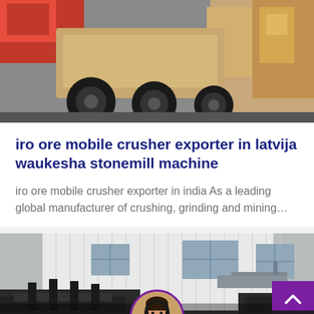[Figure (photo): Industrial machinery/crusher equipment with large tires on a vehicle, heavy industry setting with red and tan/beige colored equipment]
iro ore mobile crusher exporter in latvija waukesha stonemill machine
iro ore mobile crusher exporter in india As a leading global manufacturer of crushing, grinding and mining…
[Figure (photo): Industrial crushing/mining equipment parked in front of a large white industrial building with windows and solar panels visible]
Leave Message
Chat Online